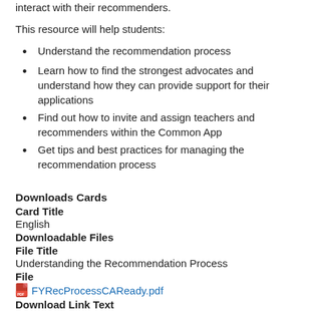interact with their recommenders.
This resource will help students:
Understand the recommendation process
Learn how to find the strongest advocates and understand how they can provide support for their applications
Find out how to invite and assign teachers and recommenders within the Common App
Get tips and best practices for managing the recommendation process
Downloads Cards
Card Title
English
Downloadable Files
File Title
Understanding the Recommendation Process
File
FYRecProcessCAReady.pdf
Download Link Text